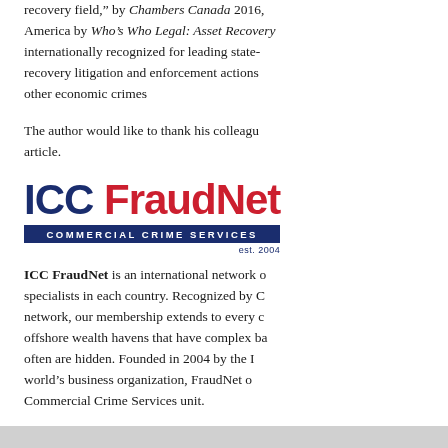recovery field," by Chambers Canada 2016, America by Who's Who Legal: Asset Recovery internationally recognized for leading state- recovery litigation and enforcement actions other economic crimes
The author would like to thank his colleague article.
[Figure (logo): ICC FraudNet logo — 'ICC' in dark navy bold, 'FraudNet' in red bold, navy bar reading 'COMMERCIAL CRIME SERVICES', 'est. 2004' in navy below right]
ICC FraudNet is an international network of specialists in each country. Recognized by C network, our membership extends to every c offshore wealth havens that have complex ba often are hidden. Founded in 2004 by the I world's business organization, FraudNet o Commercial Crime Services unit.